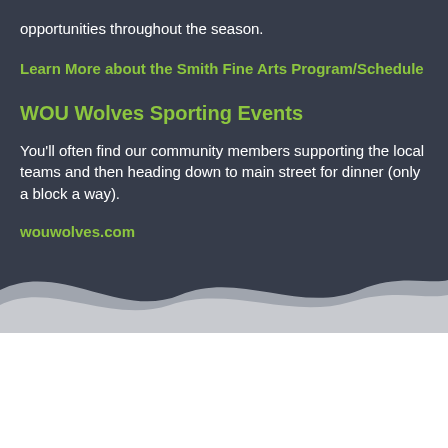opportunities throughout the season.
Learn More about the Smith Fine Arts Program/Schedule
WOU Wolves Sporting Events
You'll often find our community members supporting the local teams and then heading down to main street for dinner (only a block a way).
wouwolves.com
[Figure (illustration): Decorative wave shape at the bottom of dark section transitioning to white background, with gray and light gray wave layers]